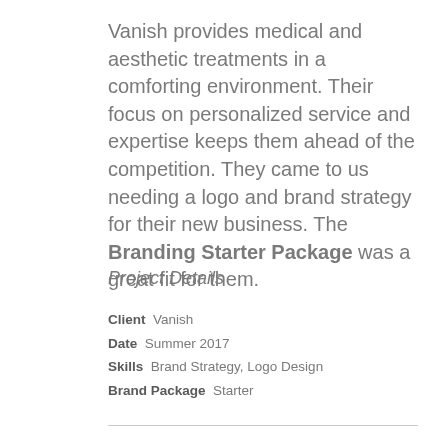Vanish provides medical and aesthetic treatments in a comforting environment. Their focus on personalized service and expertise keeps them ahead of the competition. They came to us needing a logo and brand strategy for their new business. The Branding Starter Package was a great fit for them.
Project Details
Client: Vanish
Date: Summer 2017
Skills: Brand Strategy, Logo Design
Brand Package: Starter